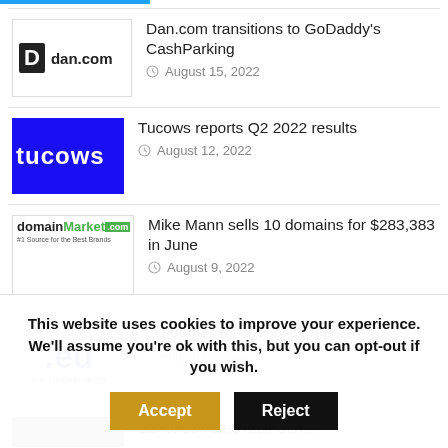Dan.com transitions to GoDaddy's CashParking — August 15, 2022
Tucows reports Q2 2022 results — August 12, 2022
Mike Mann sells 10 domains for $283,383 in June — August 9, 2022
.EU domains – Q2 2022 report — August 9, 2022
This website uses cookies to improve your experience. We'll assume you're ok with this, but you can opt-out if you wish.
Accept | Reject